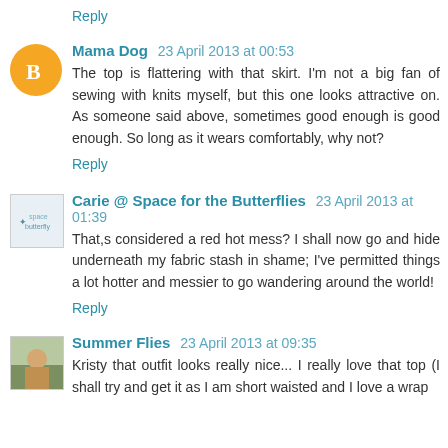Reply
Mama Dog 23 April 2013 at 00:53
The top is flattering with that skirt. I'm not a big fan of sewing with knits myself, but this one looks attractive on. As someone said above, sometimes good enough is good enough. So long as it wears comfortably, why not?
Reply
Carie @ Space for the Butterflies 23 April 2013 at 01:39
That,s considered a red hot mess? I shall now go and hide underneath my fabric stash in shame; I've permitted things a lot hotter and messier to go wandering around the world!
Reply
Summer Flies 23 April 2013 at 09:35
Kristy that outfit looks really nice... I really love that top (I shall try and get it as I am short waisted and I love a wrap